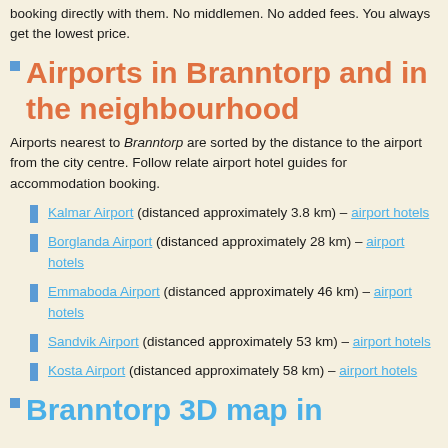booking directly with them. No middlemen. No added fees. You always get the lowest price.
Airports in Branntorp and in the neighbourhood
Airports nearest to Branntorp are sorted by the distance to the airport from the city centre. Follow relate airport hotel guides for accommodation booking.
Kalmar Airport (distanced approximately 3.8 km) – airport hotels
Borglanda Airport (distanced approximately 28 km) – airport hotels
Emmaboda Airport (distanced approximately 46 km) – airport hotels
Sandvik Airport (distanced approximately 53 km) – airport hotels
Kosta Airport (distanced approximately 58 km) – airport hotels
Branntorp 3D map in